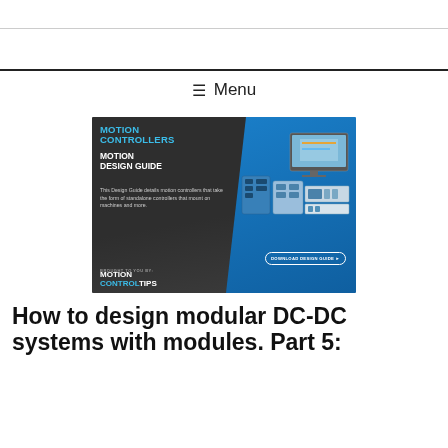≡ Menu
[Figure (advertisement): Motion Controllers Motion Design Guide advertisement. Text reads: MOTION CONTROLLERS, MOTION DESIGN GUIDE. This Design Guide details motion controllers that take the form of standalone controllers that mount on machines and more. DOWNLOAD DESIGN GUIDE button. BROUGHT TO YOU BY: MOTION CONTROL TIPS. Shows hardware devices including controllers and a monitor.]
How to design modular DC-DC systems with modules. Part 5: